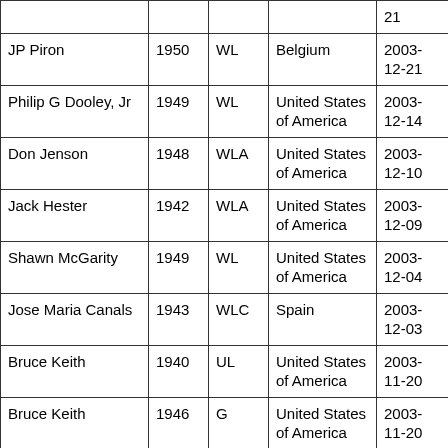| Name | Birth Year | Code | Country | Date |
| --- | --- | --- | --- | --- |
|  |  |  |  | 21 |
| JP Piron | 1950 | WL | Belgium | 2003-12-21 |
| Philip G Dooley, Jr | 1949 | WL | United States of America | 2003-12-14 |
| Don Jenson | 1948 | WLA | United States of America | 2003-12-10 |
| Jack Hester | 1942 | WLA | United States of America | 2003-12-09 |
| Shawn McGarity | 1949 | WL | United States of America | 2003-12-04 |
| Jose Maria Canals | 1943 | WLC | Spain | 2003-12-03 |
| Bruce Keith | 1940 | UL | United States of America | 2003-11-20 |
| Bruce Keith | 1946 | G | United States of America | 2003-11-20 |
| Bruce Keith | 1958 | G | United States of America | 2003-11-20 |
| Bruce Keith | 1946 | G | United States of America | 2003-11-18 |
|  |  |  |  | 2003-11- |